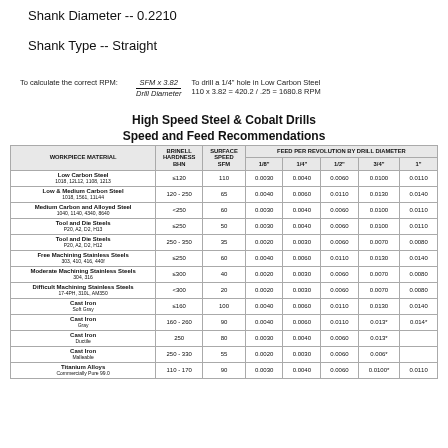Shank Diameter -- 0.2210
Shank Type -- Straight
To calculate the correct RPM: SFM x 3.82 / Drill Diameter | To drill a 1/4" hole in Low Carbon Steel 110 x 3.82 = 420.2 / .25 = 1680.8 RPM
High Speed Steel & Cobalt Drills Speed and Feed Recommendations
| WORKPIECE MATERIAL | BRINELL HARDNESS BHN | SURFACE SPEED SFM | 1/8" | 1/4" | 1/2" | 3/4" | 1" |
| --- | --- | --- | --- | --- | --- | --- | --- |
| Low Carbon Steel
1018, 12L12, 1108, 1213 | ≤120 | 110 | 0.0030 | 0.0040 | 0.0060 | 0.0100 | 0.0110 |
| Low & Medium Carbon Steel
1018, 1561, 11L44 | 120 - 250 | 65 | 0.0040 | 0.0060 | 0.0110 | 0.0130 | 0.0140 |
| Medium Carbon and Alloyed Steel
1040, 1140, 4340, 8640 | <250 | 60 | 0.0030 | 0.0040 | 0.0060 | 0.0100 | 0.0110 |
| Tool and Die Steels
P20, A2, D2, H13 | ≤250 | 50 | 0.0030 | 0.0040 | 0.0060 | 0.0100 | 0.0110 |
| Tool and Die Steels
P20, A2, D2, H12 | 250 - 350 | 35 | 0.0020 | 0.0030 | 0.0060 | 0.0070 | 0.0080 |
| Free Machining Stainless Steels
303, 410, 416, 440f | ≤250 | 60 | 0.0040 | 0.0060 | 0.0110 | 0.0130 | 0.0140 |
| Moderate Machining Stainless Steels
304, 316 | ≤300 | 40 | 0.0020 | 0.0030 | 0.0060 | 0.0070 | 0.0080 |
| Difficult Machining Stainless Steels
17-4PH, 310L, AM350 | <300 | 20 | 0.0020 | 0.0030 | 0.0060 | 0.0070 | 0.0080 |
| Cast Iron
Soft Gray | ≤160 | 100 | 0.0040 | 0.0060 | 0.0110 | 0.0130 | 0.0140 |
| Cast Iron
Gray | 160 - 260 | 90 | 0.0040 | 0.0060 | 0.0110 | 0.013* | 0.014* |
| Cast Iron
Ductile | 250 | 80 | 0.0030 | 0.0040 | 0.0060 | 0.013* |  |
| Cast Iron
Malleable | 250 - 330 | 55 | 0.0020 | 0.0030 | 0.0060 | 0.006* |  |
| Titanium Alloys
Commercially Pure 99.0 | 110 - 170 | 90 | 0.0030 | 0.0040 | 0.0060 | 0.0100* | 0.0110 |